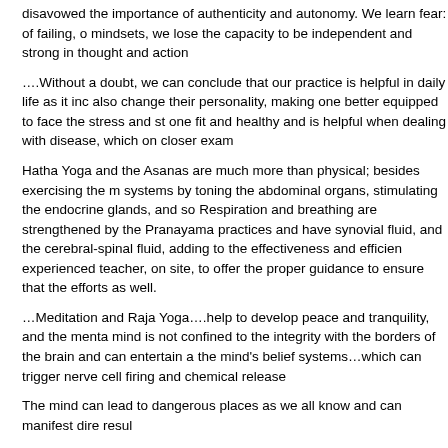disavowed the importance of authenticity and autonomy. We learn fear: of failing, o mindsets, we lose the capacity to be independent and strong in thought and action
….Without a doubt, we can conclude that our practice is helpful in daily life as it inc also change their personality, making one better equipped to face the stress and st one fit and healthy and is helpful when dealing with disease, which on closer exam
Hatha Yoga and the Asanas are much more than physical; besides exercising the m systems by toning the abdominal organs, stimulating the endocrine glands, and so Respiration and breathing are strengthened by the Pranayama practices and have synovial fluid, and the cerebral-spinal fluid, adding to the effectiveness and efficien experienced teacher, on site, to offer the proper guidance to ensure that the efforts as well.
…Meditation and Raja Yoga….help to develop peace and tranquility, and the menta mind is not confined to the integrity with the borders of the brain and can entertain a the mind's belief systems…which can trigger nerve cell firing and chemical release
The mind can lead to dangerous places as we all know and can manifest dire resul
Here is where meditation comes into the picture, uniting brain and mind to be an en make greater inroads into the scientific and philosophical body of resources that of
*Excerpted from Heitzner, P. Yoga & You for a Year: From the Beginning to the End